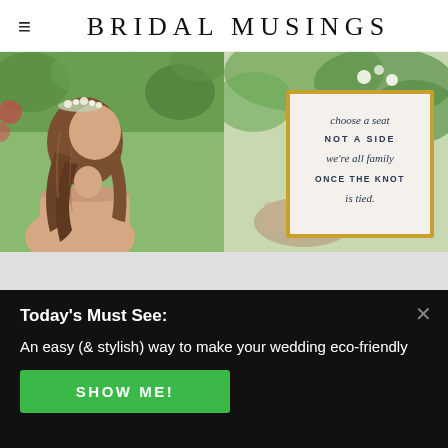BRIDAL MUSINGS
[Figure (photo): Two side-by-side wedding photos: left shows a bride with flowing hair and floral crown seen from behind; right shows a framed wedding sign reading 'choose a seat NOT A SIDE we're all family ONCE THE KNOT is tied']
Today's Must See:
An easy (& stylish) way to make your wedding eco-friendly
SHOW ME!